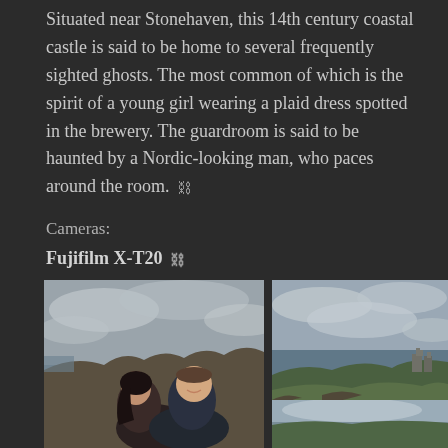Situated near Stonehaven, this 14th century coastal castle is said to be home to several frequently sighted ghosts. The most common of which is the spirit of a young girl wearing a plaid dress spotted in the brewery. The guardroom is said to be haunted by a Nordic-looking man, who paces around the room. 🔗
Cameras:
Fujifilm X-T20 🔗
Samsung Galaxy S7 🔗
[Figure (photo): Two people posing outdoors near coastal cliffs with an overcast sky]
[Figure (photo): Coastal landscape with green cliffs, ocean, and ruins of a castle in the background under cloudy sky]
[Figure (photo): Partial view of another coastal/castle photograph at the bottom right]